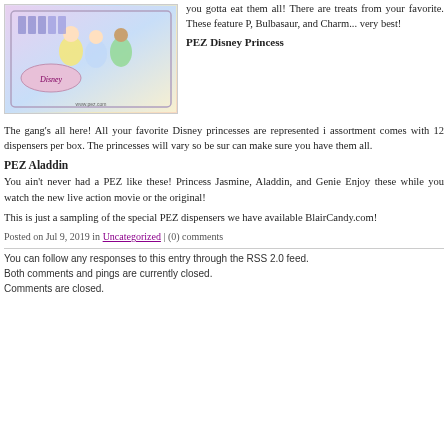[Figure (photo): Disney Princess PEZ dispenser box with Belle, Tiana, and Cinderella princesses on packaging with pink and light blue colors]
you gotta eat them all! There are treat from your favorite. These feature P, Bulbasaur, and Charm... very best!
PEZ Disney Princess
The gang's all here! All your favorite Disney princesses are represented in this assortment comes with 12 dispensers per box. The princesses will vary so be sure can make sure you have them all.
PEZ Aladdin
You ain't never had a PEZ like these! Princess Jasmine, Aladdin, and Genie are here. Enjoy these while you watch the new live action movie or the original!
This is just a sampling of the special PEZ dispensers we have available at BlairCandy.com!
Posted on Jul 9, 2019 in Uncategorized | (0) comments
You can follow any responses to this entry through the RSS 2.0 feed.
Both comments and pings are currently closed.
Comments are closed.